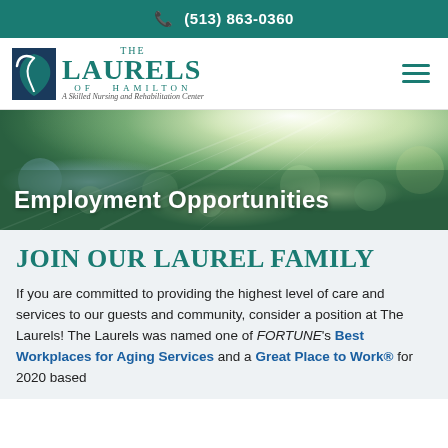📞 (513) 863-0360
[Figure (logo): The Laurels of Hamilton logo — teal square icon with stylized leaf/person mark, with text 'THE LAURELS OF HAMILTON A Skilled Nursing and Rehabilitation Center']
[Figure (photo): Bokeh nature background with sunlight rays through green leaves, used as hero banner background]
Employment Opportunities
JOIN OUR LAUREL FAMILY
If you are committed to providing the highest level of care and services to our guests and community, consider a position at The Laurels! The Laurels was named one of FORTUNE's Best Workplaces for Aging Services and a Great Place to Work® for 2020 based